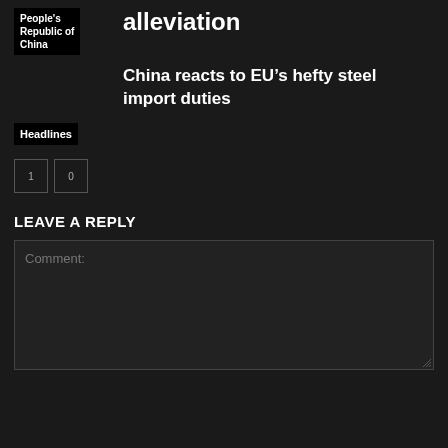alleviation
[Figure (other): Tag box with text 'People's Republic of China']
China reacts to EU’s hefty steel import duties
Headlines
1  0
LEAVE A REPLY
Comment: